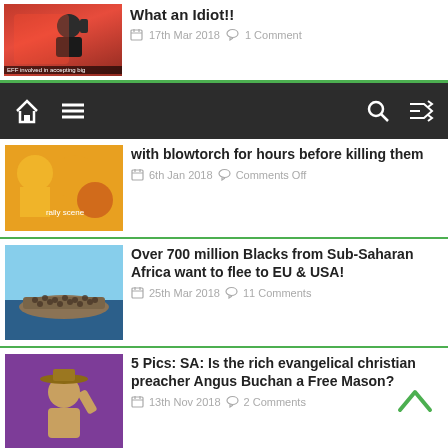[Figure (screenshot): Partial top article with red-toned thumbnail and person with raised fist]
What an Idiot!!
17th Mar 2018   1 Comment
[Figure (screenshot): Navigation bar with home icon, menu icon, search icon, shuffle icon on dark background]
[Figure (photo): People in yellow shirts at a rally with balloons]
with blowtorch for hours before killing them
6th Jan 2018   Comments Off
[Figure (photo): Crowded boat on the sea with many people]
Over 700 million Blacks from Sub-Saharan Africa want to flee to EU & USA!
25th Mar 2018   11 Comments
[Figure (photo): Man in cowboy hat raising arm on purple background]
5 Pics: SA: Is the rich evangelical christian preacher Angus Buchan a Free Mason?
13th Nov 2018   2 Comments
[Figure (illustration): Red background with yellow Africa outline and communist symbol]
Video: Dr Hammond & Jan: How Jews created Black Communism in Africa